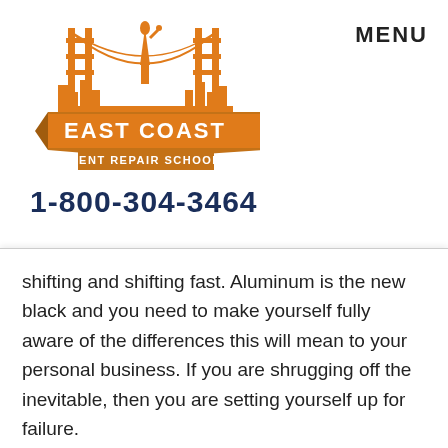[Figure (logo): East Coast Dent Repair School logo with orange bridge/Statue of Liberty illustration and banner]
MENU
1-800-304-3464
shifting and shifting fast. Aluminum is the new black and you need to make yourself fully aware of the differences this will mean to your personal business. If you are shrugging off the inevitable, then you are setting yourself up for failure.
Many body shops are making the changes